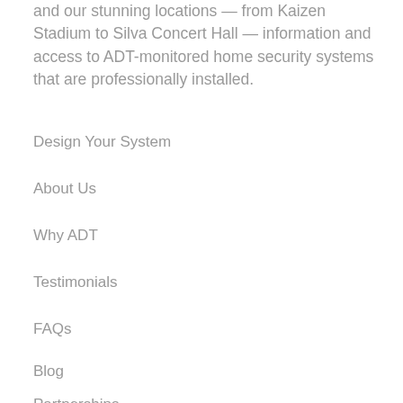and our stunning locations — from Kaizen Stadium to Silva Concert Hall — information and access to ADT-monitored home security systems that are professionally installed.
Design Your System
About Us
Why ADT
Testimonials
FAQs
Blog
Partnerships